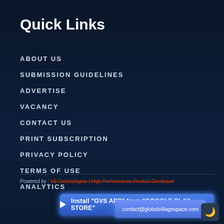Quick Links
ABOUT US
SUBMISSION GUIDELINES
ADVERTISE
VACANCY
CONTACT US
PRINT SUBSCRIPTION
PRIVACY POLICY
TERMS OF USE
ANALYTICS
Powered by : K9 Technologies | High Performance Product Developer
Install "GVS APP" from "GOOGLE PLAY STORE"
contact@globalvillagespace.com